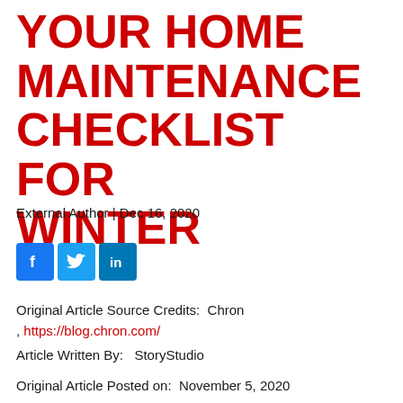YOUR HOME MAINTENANCE CHECKLIST FOR WINTER
External Author | Dec 16, 2020
[Figure (other): Social media share icons: Facebook (blue), Twitter (light blue), LinkedIn (blue)]
Original Article Source Credits:  Chron , https://blog.chron.com/
Article Written By:   StoryStudio
Original Article Posted on:  November 5, 2020